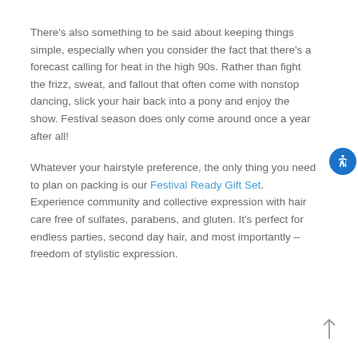There's also something to be said about keeping things simple, especially when you consider the fact that there's a forecast calling for heat in the high 90s. Rather than fight the frizz, sweat, and fallout that often come with nonstop dancing, slick your hair back into a pony and enjoy the show. Festival season does only come around once a year after all!
Whatever your hairstyle preference, the only thing you need to plan on packing is our Festival Ready Gift Set. Experience community and collective expression with hair care free of sulfates, parabens, and gluten. It's perfect for endless parties, second day hair, and most importantly – freedom of stylistic expression.